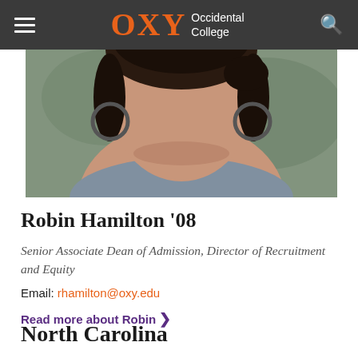OXY Occidental College
[Figure (photo): Portrait photo of Robin Hamilton, cropped to show face and upper body against a blurred outdoor background. Woman wearing gray top and hoop earrings.]
Robin Hamilton '08
Senior Associate Dean of Admission, Director of Recruitment and Equity
Email: rhamilton@oxy.edu
Read more about Robin ❯
North Carolina